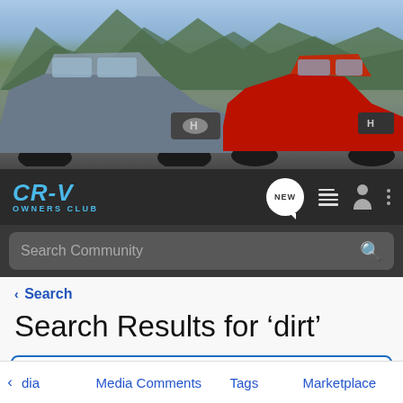[Figure (screenshot): Honda CR-V Owners Club website banner with two Honda CR-V SUVs against a mountain background]
CR-V OWNERS CLUB — navigation bar with NEW, list, user, and menu icons, plus Search Community search bar
< Search
Search Results for 'dirt'
Hey everyone! Voting is open for August's CRV of the Month Challenge!
dia   Media Comments   Tags   Marketplace